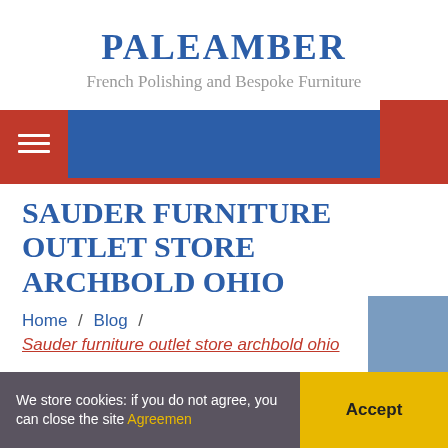PALEAMBER
French Polishing and Bespoke Furniture
SAUDER FURNITURE OUTLET STORE ARCHBOLD OHIO
Home / Blog /
Sauder furniture outlet store archbold ohio
We store cookies: if you do not agree, you can close the site Agreemen
Accept